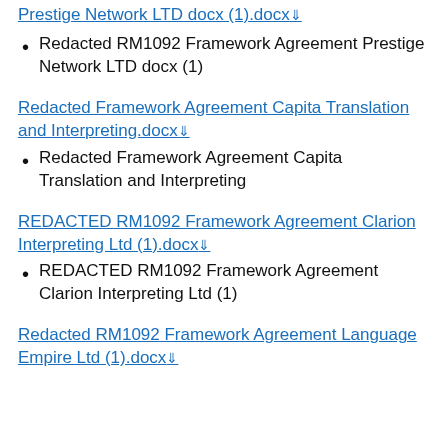Prestige Network LTD docx (1).docx ↓ (link)
Redacted RM1092 Framework Agreement Prestige Network LTD docx (1)
Redacted Framework Agreement Capita Translation and Interpreting.docx ↓ (link)
Redacted Framework Agreement Capita Translation and Interpreting
REDACTED RM1092 Framework Agreement Clarion Interpreting Ltd (1).docx ↓ (link)
REDACTED RM1092 Framework Agreement Clarion Interpreting Ltd (1)
Redacted RM1092 Framework Agreement Language Empire Ltd (1).docx ↓ (link)